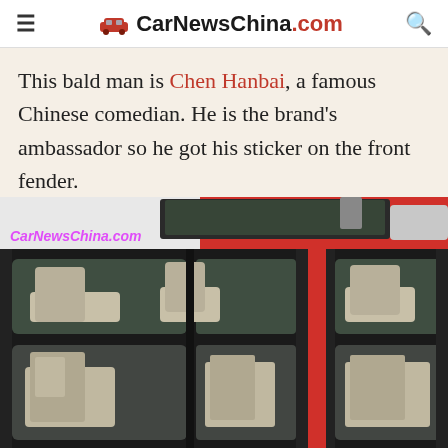CarNewsChina.com
This bald man is Chen Hanbai, a famous Chinese comedian. He is the brand's ambassador so he got his sticker on the front fender.
[Figure (photo): Close-up photo of a red and white vehicle exterior showing the side doors and windows, with a CarNewsChina.com watermark overlay. The vehicle has multiple windows revealing beige/white interior seats.]